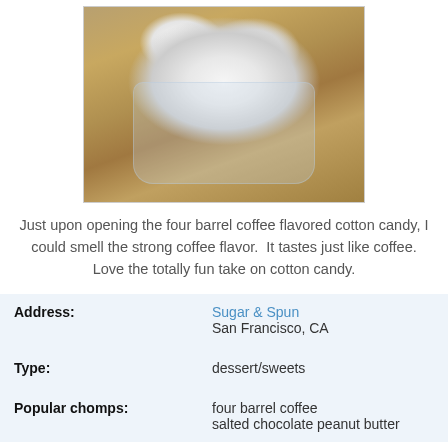[Figure (photo): Photo of cotton candy in a clear plastic cup, sitting on a wooden surface. The cotton candy is white/light grey and fluffy.]
Just upon opening the four barrel coffee flavored cotton candy, I could smell the strong coffee flavor.  It tastes just like coffee. Love the totally fun take on cotton candy.
| Address: | Sugar & Spun
San Francisco, CA |
| Type: | dessert/sweets |
| Popular chomps: | four barrel coffee
salted chocolate peanut butter |